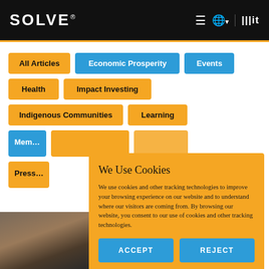SOLVE® — MIT Solve website header with navigation
All Articles
Economic Prosperity
Events
Health
Impact Investing
Indigenous Communities
Learning
Mem...
Pres...
We Use Cookies
We use cookies and other tracking technologies to improve your browsing experience on our website and to understand where our visitors are coming from. By browsing our website, you consent to our use of cookies and other tracking technologies.
ACCEPT
REJECT
[Figure (photo): Partial photo of people visible at bottom left]